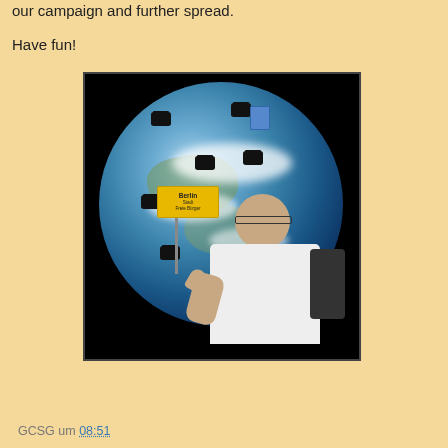our campaign and further spread.
Have fun!
[Figure (photo): A person giving a thumbs up while holding a yellow 'Berlin' city sign on a stick, standing in front of a large photo of Earth with multiple top hats and a TARDIS superimposed on it, against a black background.]
GCSG um 08:51